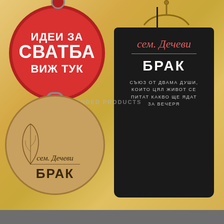[Figure (photo): Product promotion image showing a red circular tag with Cyrillic text 'ИДЕИ ЗА СВАТБА ВИЖ ТУК' (Wedding ideas, see here), a wooden round cutting board personalized with 'сем. Дечеви БРАК' and leaf decoration, and a black apron on a hanger with 'сем. Дечеви БРАК' text and Cyrillic description 'СЪЮЗ ОТ ДВАМА ДУШИ, КОИТО ЦЯЛ ЖИВОТ СЕ ПИТАТ КАКВО ЩЕ ЯДАТ ЗА ВЕЧЕРЯ'. Background is warm golden/bokeh. Watermark: RECOMMENDED PRODUCTS.]